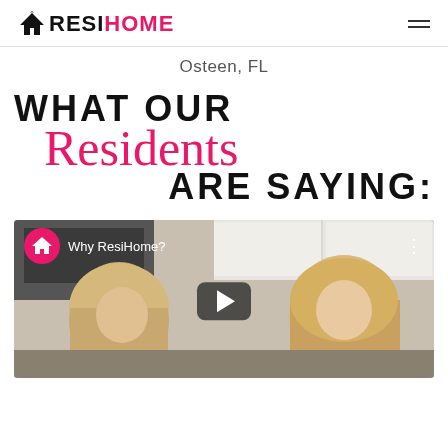RESIHOME [logo] | Osteen, FL
WHAT OUR Residents ARE SAYING:
[Figure (screenshot): YouTube video thumbnail showing two women in a kitchen with the title 'Why ResiHome?' and a play button overlay, with the ResiHome channel icon.]